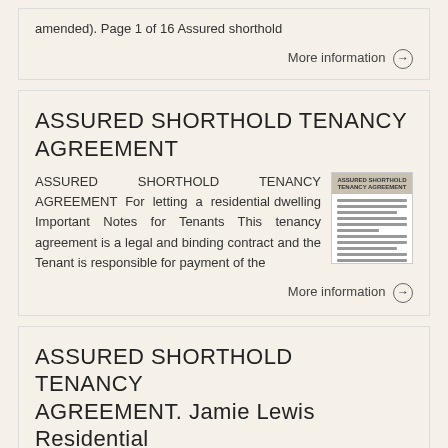amended). Page 1 of 16 Assured shorthold
More information →
ASSURED SHORTHOLD TENANCY AGREEMENT
ASSURED SHORTHOLD TENANCY AGREEMENT For letting a residential dwelling Important Notes for Tenants This tenancy agreement is a legal and binding contract and the Tenant is responsible for payment of the
More information →
ASSURED SHORTHOLD TENANCY AGREEMENT. Jamie Lewis Residential Lettings Western Road Leicester LE3 0GH
ASSURED SHORTHOLD TENANCY